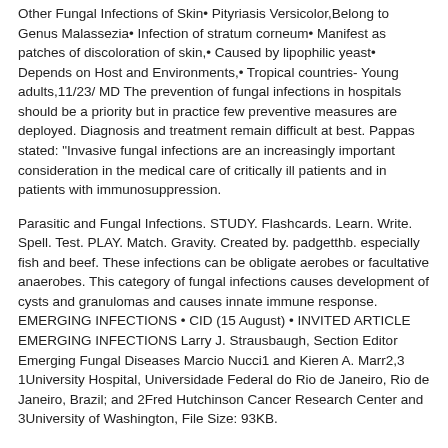Other Fungal Infections of Skin• Pityriasis Versicolor,Belong to Genus Malassezia• Infection of stratum corneum• Manifest as patches of discoloration of skin,• Caused by lipophilic yeast• Depends on Host and Environments,• Tropical countries- Young adults,11/23/ MD The prevention of fungal infections in hospitals should be a priority but in practice few preventive measures are deployed. Diagnosis and treatment remain difficult at best. Pappas stated: "Invasive fungal infections are an increasingly important consideration in the medical care of critically ill patients and in patients with immunosuppression.
Parasitic and Fungal Infections. STUDY. Flashcards. Learn. Write. Spell. Test. PLAY. Match. Gravity. Created by. padgetthb. especially fish and beef. These infections can be obligate aerobes or facultative anaerobes. This category of fungal infections causes development of cysts and granulomas and causes innate immune response. EMERGING INFECTIONS • CID (15 August) • INVITED ARTICLE EMERGING INFECTIONS Larry J. Strausbaugh, Section Editor Emerging Fungal Diseases Marcio Nucci1 and Kieren A. Marr2,3 1University Hospital, Universidade Federal do Rio de Janeiro, Rio de Janeiro, Brazil; and 2Fred Hutchinson Cancer Research Center and 3University of Washington, File Size: 93KB.
[Figure (infographic): A download box with title 'Available for Download' and two buttons: 'Download PDF' and 'Download EPUB']